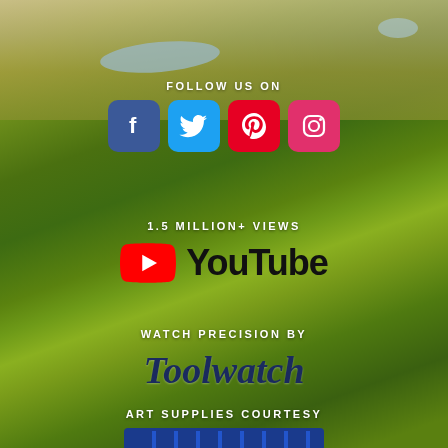[Figure (photo): Green rolling hills with lakes in the background, Scottish highlands landscape]
FOLLOW US ON
[Figure (infographic): Four social media icons: Facebook (blue), Twitter (light blue), Pinterest (red), Instagram (pink/red)]
1.5 MILLION+ VIEWS
[Figure (logo): YouTube logo with play button icon and 'YouTube' text]
WATCH PRECISION BY
Toolwatch
ART SUPPLIES COURTESY
[Figure (logo): Art supplies brand banner at bottom, blue background]